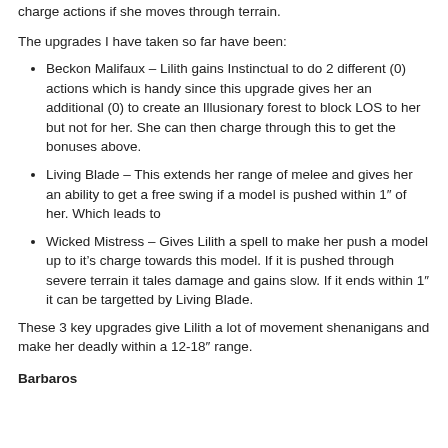charge actions if she moves through terrain.
The upgrades I have taken so far have been:
Beckon Malifaux – Lilith gains Instinctual to do 2 different (0) actions which is handy since this upgrade gives her an additional (0) to create an Illusionary forest to block LOS to her but not for her. She can then charge through this to get the bonuses above.
Living Blade – This extends her range of melee and gives her an ability to get a free swing if a model is pushed within 1" of her. Which leads to
Wicked Mistress – Gives Lilith a spell to make her push a model up to it's charge towards this model. If it is pushed through severe terrain it tales damage and gains slow. If it ends within 1" it can be targetted by Living Blade.
These 3 key upgrades give Lilith a lot of movement shenanigans and make her deadly within a 12-18" range.
Barbaros